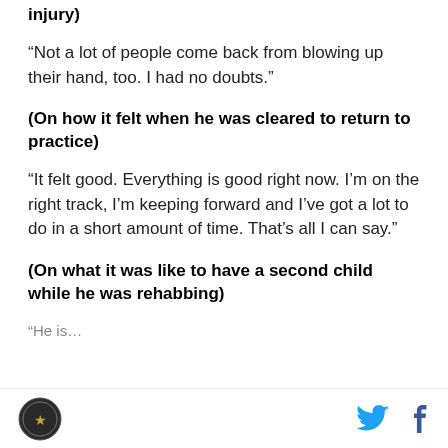injury)
“Not a lot of people come back from blowing up their hand, too. I had no doubts.”
(On how it felt when he was cleared to return to practice)
“It felt good. Everything is good right now. I’m on the right track, I’m keeping forward and I’ve got a lot to do in a short amount of time. That’s all I can say.”
(On what it was like to have a second child while he was rehabbing)
“He is…
[logo] [twitter] [facebook]